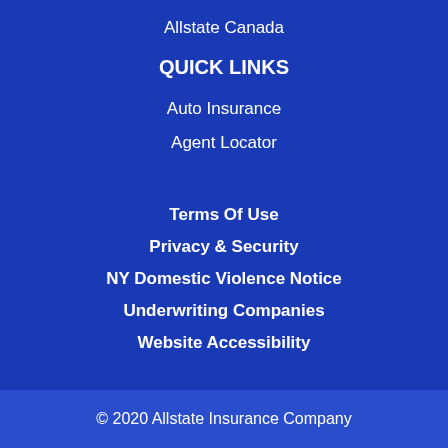Allstate Canada
QUICK LINKS
Auto Insurance
Agent Locator
Terms Of Use
Privacy & Security
NY Domestic Violence Notice
Underwriting Companies
Website Accessibility
© 2020 Allstate Insurance Company